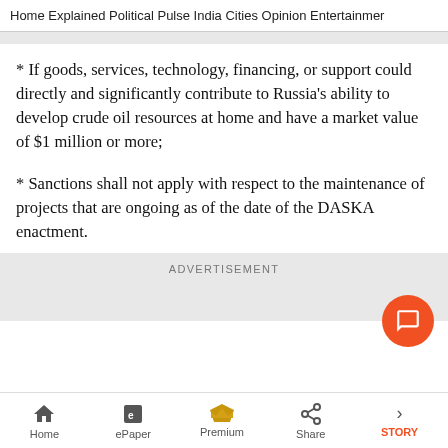Home  Explained  Political Pulse  India  Cities  Opinion  Entertainment
* If goods, services, technology, financing, or support could directly and significantly contribute to Russia's ability to develop crude oil resources at home and have a market value of $1 million or more;
* Sanctions shall not apply with respect to the maintenance of projects that are ongoing as of the date of the DASKA enactment.
ADVERTISEMENT
Home  ePaper  Premium  Share  STORY